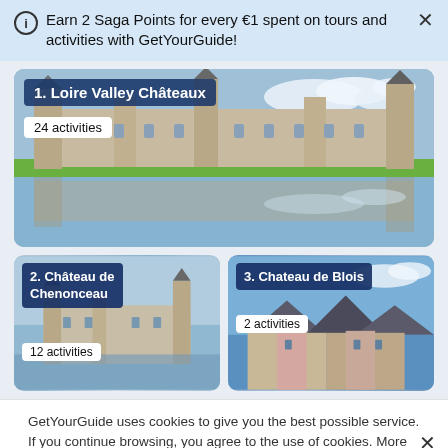Earn 2 Saga Points for every €1 spent on tours and activities with GetYourGuide!
[Figure (photo): 1. Loire Valley Chateaux - photo of a grand French chateau reflected in water, 24 activities]
[Figure (photo): 2. Château de Chenonceau - photo of the chateau, 12 activities]
[Figure (photo): 3. Chateau de Blois - photo of the chateau rooftop, 2 activities]
GetYourGuide uses cookies to give you the best possible service. If you continue browsing, you agree to the use of cookies. More details can be found in our privacy policy.